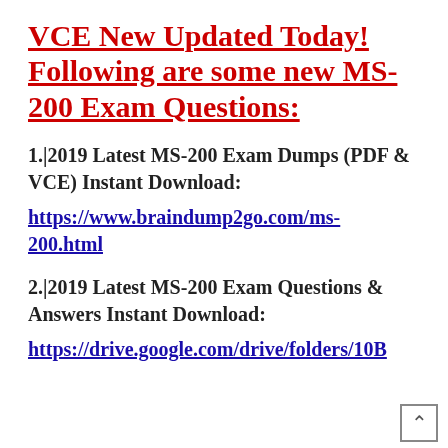VCE New Updated Today! Following are some new MS-200 Exam Questions:
1.|2019 Latest MS-200 Exam Dumps (PDF & VCE) Instant Download:
https://www.braindump2go.com/ms-200.html
2.|2019 Latest MS-200 Exam Questions & Answers Instant Download:
https://drive.google.com/drive/folders/10B...